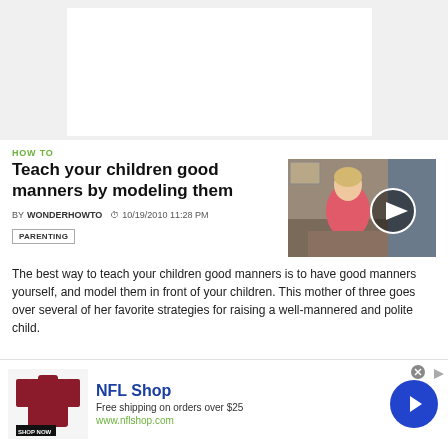[Figure (screenshot): White video placeholder box on grey background at top of page]
HOW TO
Teach your children good manners by modeling them
[Figure (photo): Thumbnail of a woman in a pink top sitting in a room, with a play button overlay]
BY WONDERHOWTO  10/19/2010 11:28 PM
PARENTING
The best way to teach your children good manners is to have good manners yourself, and model them in front of your children. This mother of three goes over several of her favorite strategies for raising a well-mannered and polite child.
[Figure (screenshot): NFL Shop advertisement banner with red jersey image, NFL Shop text, free shipping offer, www.nflshop.com URL, SHOP NOW button, and a blue circular arrow button]